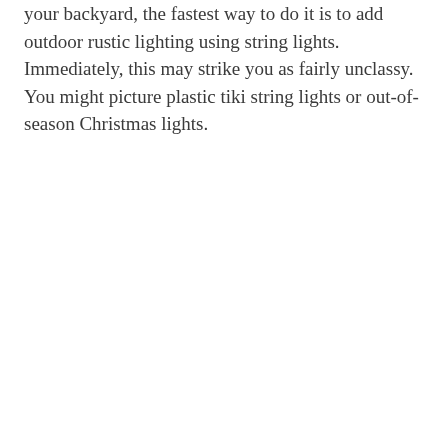your backyard, the fastest way to do it is to add outdoor rustic lighting using string lights. Immediately, this may strike you as fairly unclassy. You might picture plastic tiki string lights or out-of-season Christmas lights.